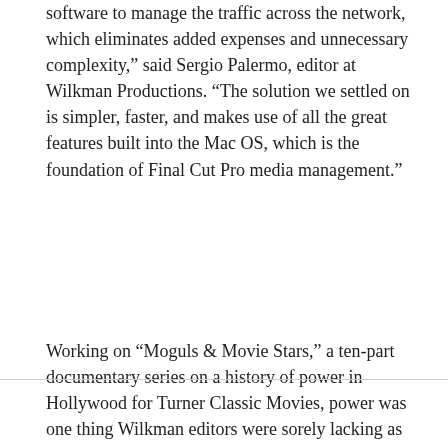software to manage the traffic across the network, which eliminates added expenses and unnecessary complexity,” said Sergio Palermo, editor at Wilkman Productions. “The solution we settled on is simpler, faster, and makes use of all the great features built into the Mac OS, which is the foundation of Final Cut Pro media management.”
Working on “Moguls & Movie Stars,” a ten-part documentary series on a history of power in Hollywood for Turner Classic Movies, power was one thing Wilkman editors were sorely lacking as they began post-production on the project. According to Palermo, the amount of time spent on the project was reduced substantially because of the enhanced workflow generated by Small Tree’s shared storage technology.